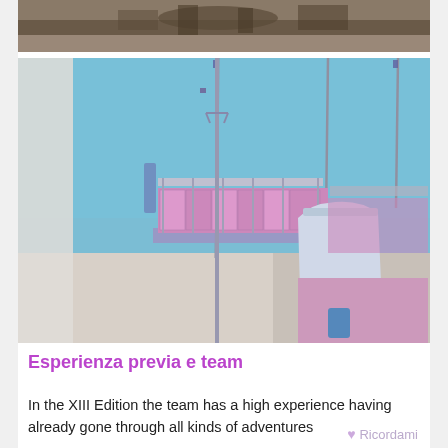[Figure (photo): Partial top photo strip showing what appears to be a cluttered attic or storage area with dark/brown tones]
[Figure (photo): Hospital ward room with multiple beds with pink/purple mattresses and metal railings, IV stands visible, light blue walls, light colored floor]
Esperienza previa e team
In the XIII Edition the team has a high experience having already gone through all kinds of adventures
Ricordami